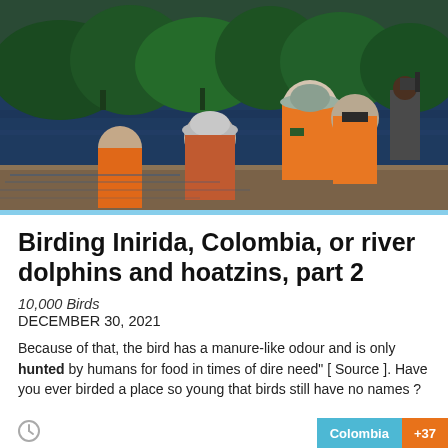[Figure (photo): People in orange life vests on a boat on a river, watching birds with binoculars and cameras, with lush green jungle on the far bank.]
Birding Inirida, Colombia, or river dolphins and hoatzins, part 2
10,000 Birds
DECEMBER 30, 2021
Because of that, the bird has a manure-like odour and is only hunted by humans for food in times of dire need" [ Source ]. Have you ever birded a place so young that birds still have no names ?